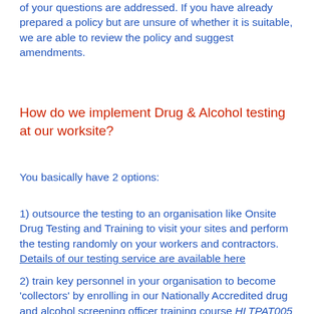of your questions are addressed. If you have already prepared a policy but are unsure of whether it is suitable, we are able to review the policy and suggest amendments.
How do we implement Drug & Alcohol testing at our worksite?
You basically have 2 options:
1) outsource the testing to an organisation like Onsite Drug Testing and Training to visit your sites and perform the testing randomly on your workers and contractors. Details of our testing service are available here
2) train key personnel in your organisation to become 'collectors' by enrolling in our Nationally Accredited drug and alcohol screening officer training course HLTPAT005 - Collect specimens for drugs of abuse testing, purchase testing equipment and accessories from Onsite Drug Testing and Training and conduct the